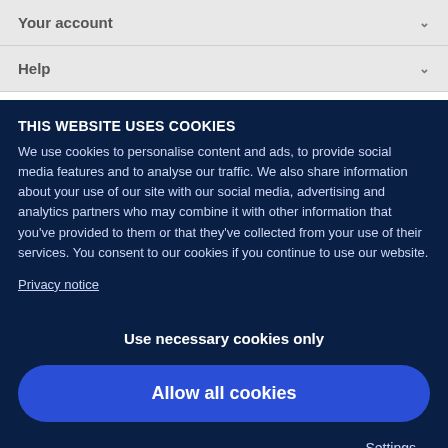Your account
Help
THIS WEBSITE USES COOKIES
We use cookies to personalise content and ads, to provide social media features and to analyse our traffic. We also share information about your use of our site with our social media, advertising and analytics partners who may combine it with other information that you've provided to them or that they've collected from your use of their services. You consent to our cookies if you continue to use our website.
Privacy notice
Use necessary cookies only
Allow all cookies
Settings